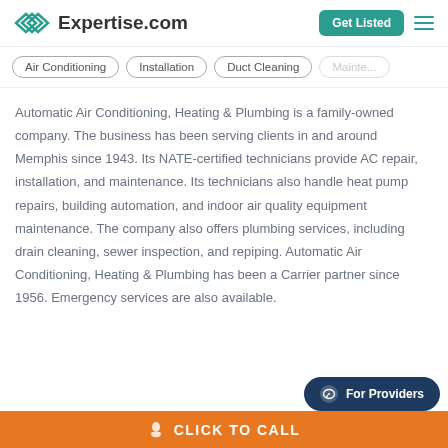Expertise.com | Get Listed
Air Conditioning
Installation
Duct Cleaning
Mainte...
Automatic Air Conditioning, Heating & Plumbing is a family-owned company. The business has been serving clients in and around Memphis since 1943. Its NATE-certified technicians provide AC repair, installation, and maintenance. Its technicians also handle heat pump repairs, building automation, and indoor air quality equipment maintenance. The company also offers plumbing services, including drain cleaning, sewer inspection, and repiping. Automatic Air Conditioning, Heating & Plumbing has been a Carrier partner since 1956. Emergency services are also available.